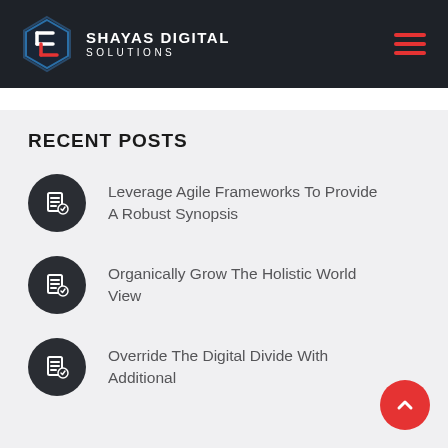SHAYAS DIGITAL SOLUTIONS
RECENT POSTS
Leverage Agile Frameworks To Provide A Robust Synopsis
Organically Grow The Holistic World View
Override The Digital Divide With Additional